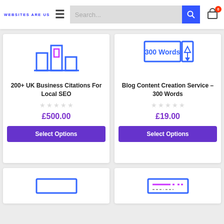WEBSITES ARE US — navigation bar with hamburger menu, search field, and cart icon showing 0 items
[Figure (illustration): Icon of UK business map/cityscape outline in blue and purple]
200+ UK Business Citations For Local SEO
★★★★★ (0 rating)
£500.00
Select Options
[Figure (illustration): Icon showing '300 Words' in a blue border box with a downward arrow/pen nib symbol]
Blog Content Creation Service – 300 Words
★★★★★ (0 rating)
£19.00
Select Options
[Figure (illustration): Partial product card at bottom left — partially visible]
[Figure (illustration): Partial product card at bottom right — partially visible with blue/purple lines]